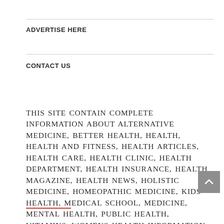ADVERTISE HERE
CONTACT US
THIS SITE CONTAIN COMPLETE INFORMATION ABOUT ALTERNATIVE MEDICINE, BETTER HEALTH, HEALTH, HEALTH AND FITNESS, HEALTH ARTICLES, HEALTH CARE, HEALTH CLINIC, HEALTH DEPARTMENT, HEALTH INSURANCE, HEALTH MAGAZINE, HEALTH NEWS, HOLISTIC MEDICINE, HOMEOPATHIC MEDICINE, KIDS HEALTH, MEDICAL SCHOOL, MEDICINE, MENTAL HEALTH, PUBLIC HEALTH, VITAMINS, WOMENS HEALTH INFORMATION ABOUT HEALTH